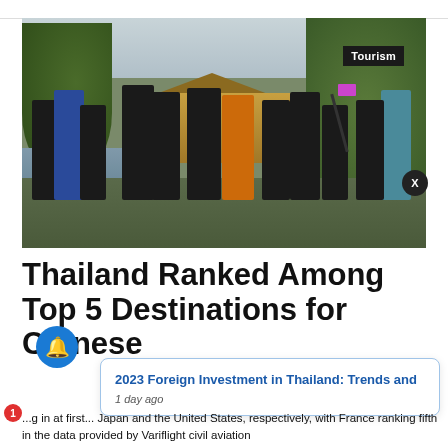[Figure (photo): Group of tourists standing in front of the Kinkaku-ji (Golden Pavilion) temple in Japan surrounded by trees and a pond, one person taking a selfie with a selfie stick.]
Tourism
Thailand Ranked Among Top 5 Destinations for Chinese
2023 Foreign Investment in Thailand: Trends and
1 day ago
...g in at first... Japan and the United States, respectively, with France ranking fifth in the data provided by Variflight civil aviation